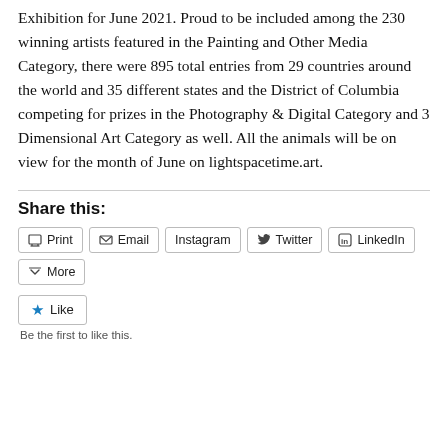Exhibition for June 2021. Proud to be included among the 230 winning artists featured in the Painting and Other Media Category, there were 895 total entries from 29 countries around the world and 35 different states and the District of Columbia competing for prizes in the Photography & Digital Category and 3 Dimensional Art Category as well. All the animals will be on view for the month of June on lightspacetime.art.
Share this:
[Figure (other): Social sharing buttons: Print, Email, Instagram, Twitter, LinkedIn, More]
[Figure (other): Like button with star icon and 'Be the first to like this.' text]